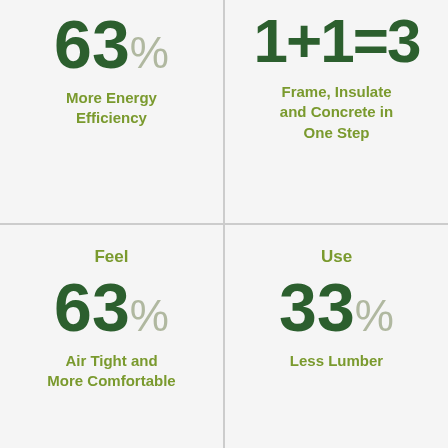[Figure (infographic): Top-left cell: large '63%' with '63' in dark green and '%' in light grey, below it bold green text 'More Energy Efficiency']
[Figure (infographic): Top-right cell: large '1+1=3' math expression in dark green, below it bold green text 'Frame, Insulate and Concrete in One Step']
[Figure (infographic): Bottom-left cell: label 'Feel' in olive green, large '63%' with '63' in dark green and '%' in light grey, below bold green text 'Air Tight and More Comfortable']
[Figure (infographic): Bottom-right cell: label 'Use' in olive green, large '33%' with '33' in dark green and '%' in light grey, below bold green text 'Less Lumber']